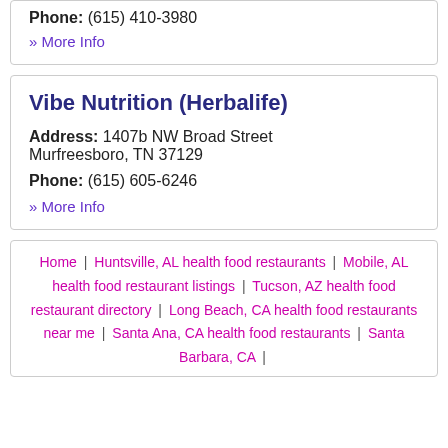Phone: (615) 410-3980
» More Info
Vibe Nutrition (Herbalife)
Address: 1407b NW Broad Street Murfreesboro, TN 37129
Phone: (615) 605-6246
» More Info
Home | Huntsville, AL health food restaurants | Mobile, AL health food restaurant listings | Tucson, AZ health food restaurant directory | Long Beach, CA health food restaurants near me | Santa Ana, CA health food restaurants | Santa Barbara, CA |